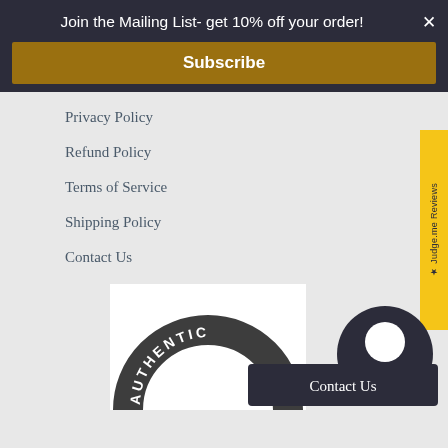Join the Mailing List- get 10% off your order! ×
Subscribe
Privacy Policy
Refund Policy
Terms of Service
Shipping Policy
Contact Us
[Figure (logo): AUTHENTIC circular badge logo, dark gray arc with white text]
Contact Us